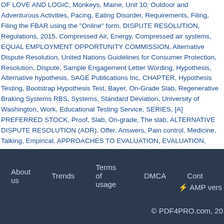OF LOVE AND LOGIC, Monkeys, Maine, Unit 10: Outdoor and Adventurous Activities, Pacing, Eating Disorder, Requirements, Filing, Filing the FBAR using the "Online" form, DISPUTE RESOLUTION, Regulations, 2015, Compressed Air, Energy, Compressed air systems, EQUAL EMPLOYMENT OPPORTUNITY COMMISSION, Alternative Dispute Resolution, United Nations Guidelines for Consumer Protection, Resolution, Dispute, Sample Engagement Letter Wording, Hypothesis, Alternative hypothesis, SAGE Publications Inc, CHAPTER, Hypothesis Testing, Bootstrap Hypothesis Test, Bayer, On-Grade Slab, Regenerative Braking Systems RBS, Systems, Standard Deviation, University of Washington, Work, Educational Testing Service, SERIES, [A] PREFERRED STOCK, Proof, Slab, On-grade, The slab, ALTERNATIVE DISPUTE RESOLUTION (ADR), Offer, Answers, Pain control, Medicine, Talking, Empirical, APPROACHES TO EVALUATION, EVALUATION, Approaches, Complementary, Complementary and alternative medicine, Therapies, Hypothesis Alternative hypothesis
About us   Trends   Terms of usage   DMCA   Cont   ⚡ AMP vers   © PDF4PRO.com, 20